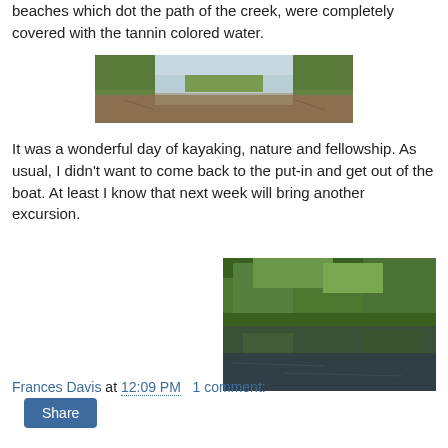beaches which dot the path of the creek, were completely covered with the tannin colored water.
[Figure (photo): Panoramic view of a creek with tannin-colored water and tree-lined banks reflecting in the still water.]
It was a wonderful day of kayaking, nature and fellowship. As usual, I didn't want to come back to the put-in and get out of the boat. At least I know that next week will bring another excursion.
[Figure (photo): Close-up view of a creek with lush green vegetation and trees reflecting in calm dark water.]
Frances Davis at 12:09 PM   1 comment:
Share